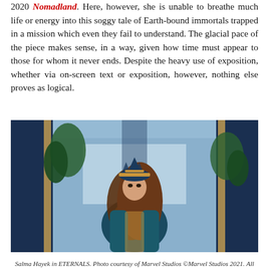2020 Nomadland. Here, however, she is unable to breathe much life or energy into this soggy tale of Earth-bound immortals trapped in a mission which even they fail to understand. The glacial pace of the piece makes sense, in a way, given how time must appear to those for whom it never ends. Despite the heavy use of exposition, whether via on-screen text or exposition, however, nothing else proves as logical.
[Figure (photo): Salma Hayek in ETERNALS, wearing a gold and teal superhero costume with a golden crown/headdress, standing in front of decorative blue and gold architectural columns with greenery visible in the background.]
Salma Hayek in ETERNALS. Photo courtesy of Marvel Studios ©Marvel Studios 2021. All Rights Reserved.